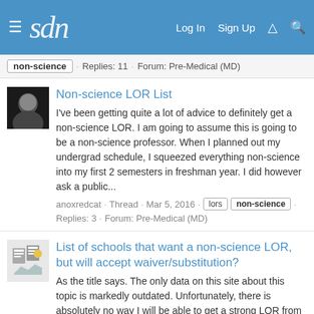sdn — Log In · Sign Up
non-science · Replies: 11 · Forum: Pre-Medical (MD)
Non-science LOR List
I've been getting quite a lot of advice to definitely get a non-science LOR. I am going to assume this is going to be a non-science professor. When I planned out my undergrad schedule, I squeezed everything non-science into my first 2 semesters in freshman year. I did however ask a public...
anoxredcat · Thread · Mar 5, 2016 · lors · non-science · Replies: 3 · Forum: Pre-Medical (MD)
List of schools that want a non-science LOR, but will accept waiver/substitution?
As the title says. The only data on this site about this topic is markedly outdated. Unfortunately, there is absolutely no way I will be able to get a strong LOR from a non-science professor due to the timing of my classes. However, I have physicians and employers that would write me strong LORs...
Hospitalized · Thread · Feb 20, 2016 · lor · non-science ·